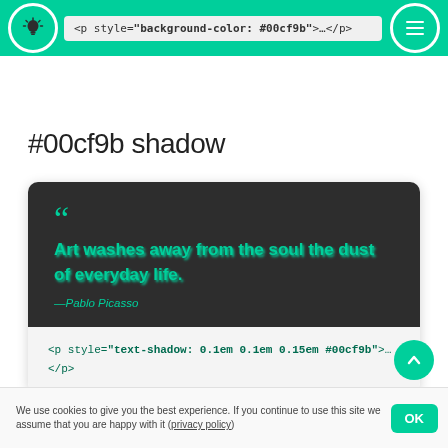<p style="background-color: #00cf9b">…</p>
#00cf9b shadow
[Figure (screenshot): Demo card showing a blockquote with teal text-shadow on dark background, and code snippet below: <p style="text-shadow: 0.1em 0.1em 0.15em #00cf9b">… </p>]
We use cookies to give you the best experience. If you continue to use this site we assume that you are happy with it (privacy policy)  OK